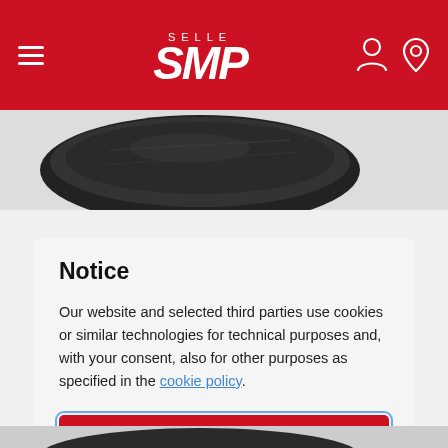Selle SMP
[Figure (photo): Partial view of a black bicycle saddle from above, cropped at top of page]
Notice
Our website and selected third parties use cookies or similar technologies for technical purposes and, with your consent, also for other purposes as specified in the cookie policy.
ACCEPT ALL COOKIES
PRIVACY PREFERENCES
[Figure (photo): Partial view of a black bicycle saddle from above, cropped at bottom of page]